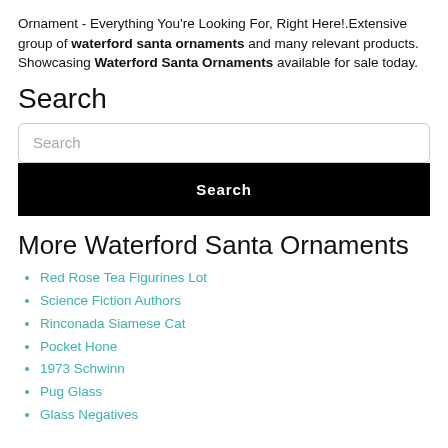Ornament - Everything You're Looking For, Right Here!.Extensive group of waterford santa ornaments and many relevant products. Showcasing Waterford Santa Ornaments available for sale today.
Search
[Figure (other): Search input field with placeholder text 'Search']
[Figure (other): Black search button with white bold text 'Search']
More Waterford Santa Ornaments
Red Rose Tea Figurines Lot
Science Fiction Authors
Rinconada Siamese Cat
Pocket Hone
1973 Schwinn
Pug Glass
Glass Negatives